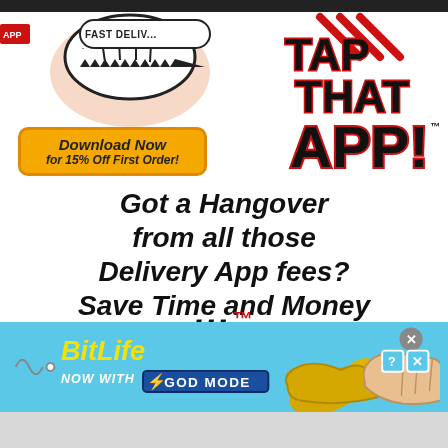[Figure (illustration): Comic-book style illustration showing a delivery person with 'FAST DELIVERY' text and 'TAP THAT APP!' title with red and black comic lettering, plus a yellow 'Download Now for 15% Off First Order!' button]
Got a Hangover from all those Delivery App fees? Save Time and Money by ordering through
[Figure (illustration): BitLife advertisement banner on light blue background with yellow BitLife logo, 'NOW WITH GOD MODE' text in blue box, pointing hand graphic, question mark and X close buttons]